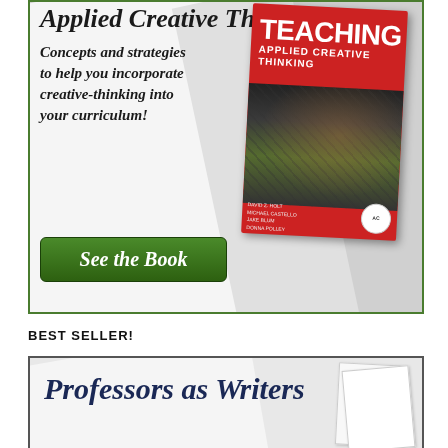[Figure (illustration): Advertisement banner for 'Teaching Applied Creative Thinking' book. Shows book cover (red with white TEACHING text), italic tagline text, and green 'See the Book' button on gray diagonal background.]
BEST SELLER!
[Figure (illustration): Bottom advertisement banner for 'Professors as Writers' book, showing title in dark blue italic serif font on gray diagonal background with paper sheets.]